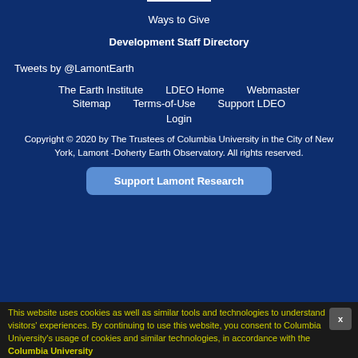Ways to Give
Development Staff Directory
Tweets by @LamontEarth
The Earth Institute
LDEO Home
Webmaster
Sitemap
Terms-of-Use
Support LDEO
Login
Copyright © 2020 by The Trustees of Columbia University in the City of New York, Lamont -Doherty Earth Observatory. All rights reserved.
Support Lamont Research
This website uses cookies as well as similar tools and technologies to understand visitors' experiences. By continuing to use this website, you consent to Columbia University's usage of cookies and similar technologies, in accordance with the Columbia University